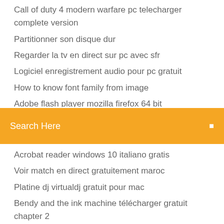Call of duty 4 modern warfare pc telecharger complete version
Partitionner son disque dur
Regarder la tv en direct sur pc avec sfr
Logiciel enregistrement audio pour pc gratuit
How to know font family from image
Adobe flash player mozilla firefox 64 bit
[Figure (screenshot): Orange search bar with text 'Search Here' in white and a small icon on the right]
Acrobat reader windows 10 italiano gratis
Voir match en direct gratuitement maroc
Platine dj virtualdj gratuit pour mac
Bendy and the ink machine télécharger gratuit chapter 2
Télécharger microsoft net framework 3.5 sp1 for windows xp 32 bit
Les page jaune gratuit fr
Descargar steam windows 10
Avast secureline tap adapter v3 para que sirve
Attack on titan jeux pc